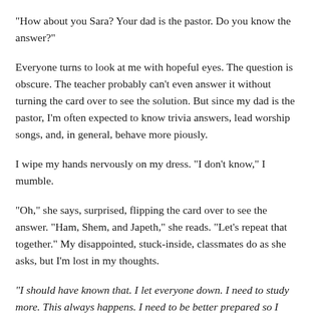“How about you Sara? Your dad is the pastor. Do you know the answer?”
Everyone turns to look at me with hopeful eyes. The question is obscure. The teacher probably can’t even answer it without turning the card over to see the solution. But since my dad is the pastor, I’m often expected to know trivia answers, lead worship songs, and, in general, behave more piously.
I wipe my hands nervously on my dress. “I don’t know,” I mumble.
“Oh,” she says, surprised, flipping the card over to see the answer. “Ham, Shem, and Japeth,” she reads. “Let’s repeat that together.” My disappointed, stuck-inside, classmates do as she asks, but I’m lost in my thoughts.
“I should have known that. I let everyone down. I need to study more. This always happens. I need to be better prepared so I don’t